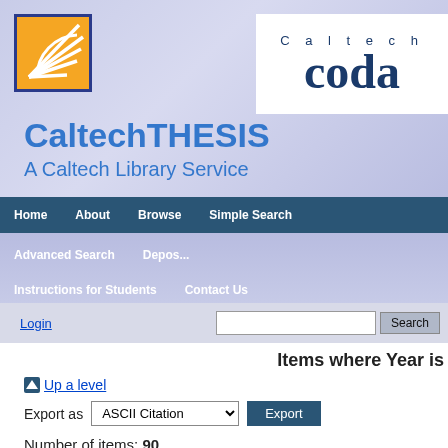[Figure (screenshot): CaltechTHESIS website header with Caltech logo, Caltech CODA branding, navigation bars, login/search bar, and content area showing items listing.]
CaltechTHESIS
A Caltech Library Service
Home   About   Browse   Simple Search
Advanced Search   Deposit
Instructions for Students   Contact Us
Login
Items where Year is
Up a level
Export as  ASCII Citation  Export
Number of items: 90.
Audesirk, Gerald Joseph (1975) Part I. Studies on the Organiza...